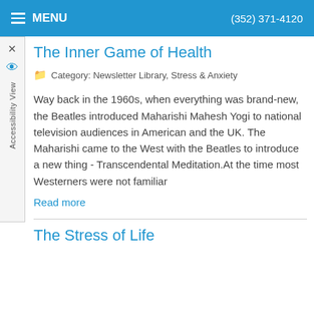MENU  (352) 371-4120
The Inner Game of Health
Category: Newsletter Library, Stress & Anxiety
Way back in the 1960s, when everything was brand-new, the Beatles introduced Maharishi Mahesh Yogi to national television audiences in American and the UK. The Maharishi came to the West with the Beatles to introduce a new thing - Transcendental Meditation.At the time most Westerners were not familiar
Read more
The Stress of Life